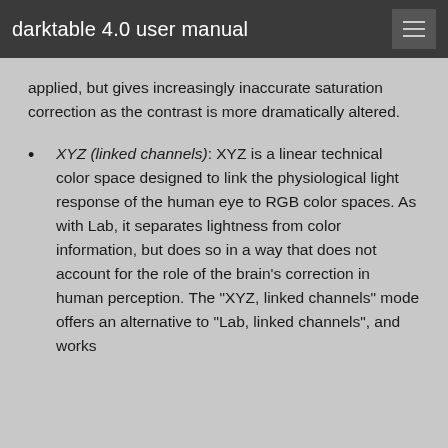darktable 4.0 user manual
applied, but gives increasingly inaccurate saturation correction as the contrast is more dramatically altered.
XYZ (linked channels): XYZ is a linear technical color space designed to link the physiological light response of the human eye to RGB color spaces. As with Lab, it separates lightness from color information, but does so in a way that does not account for the role of the brain’s correction in human perception. The “XYZ, linked channels” mode offers an alternative to “Lab, linked channels”, and works